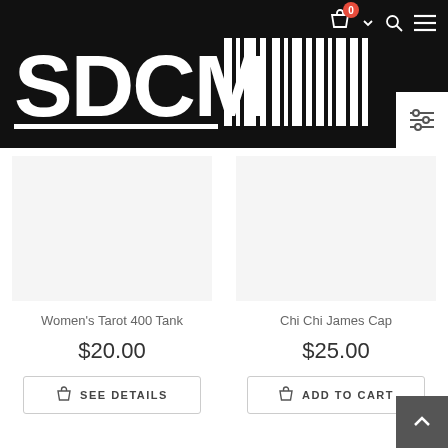SDCM SHOP header with cart (0), search, and menu icons
[Figure (logo): SDCM SHOP logo in white on black background with barcode-style lettering]
Women's Tarot 400 Tank
$20.00
SEE DETAILS
Chi Chi James Cap
$25.00
ADD TO CART